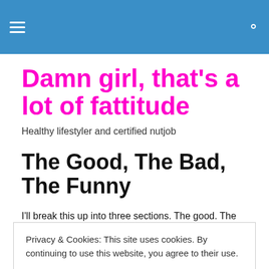Damn girl, that's a lot of fattitude — navigation bar with hamburger menu and search icon
Damn girl, that's a lot of fattitude
Healthy lifestyler and certified nutjob
The Good, The Bad, The Funny
I'll break this up into three sections. The good. The bad.
Privacy & Cookies: This site uses cookies. By continuing to use this website, you agree to their use.
To find out more, including how to control cookies, see here: Cookie Policy
– success!!!